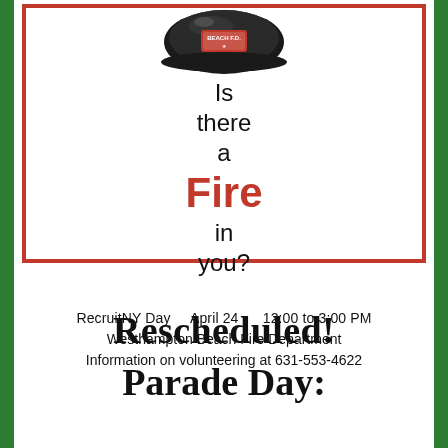[Figure (illustration): Fire helmet with BEACH F.D. label, shown from above/front, black and silver with red badge]
Is there a Fire in you?
RecruitNY Day    April 24    12:00 to 3:00 PM
Westhampton Beach Fire Department
Information on volunteering at 631-553-4622
Rescheduled!
Parade Day: